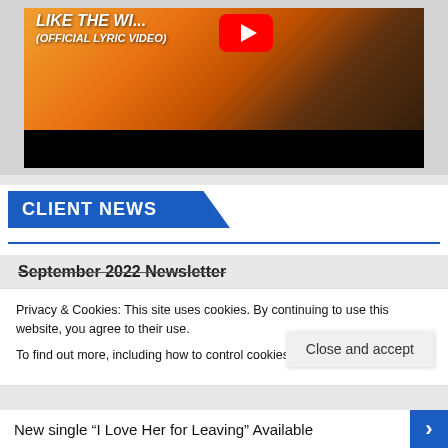[Figure (screenshot): YouTube video thumbnail showing a man in a tan vest with text 'LIKE THE W... (OFFICIAL LYRIC VIDEO)' and YouTube play button logo over a warm sunset background with a black progress bar at the bottom.]
CLIENT NEWS
September 2022 Newsletter
Privacy & Cookies: This site uses cookies. By continuing to use this website, you agree to their use.
To find out more, including how to control cookies, see here: Cookie Policy
Close and accept
New single “I Love Her for Leaving” Available